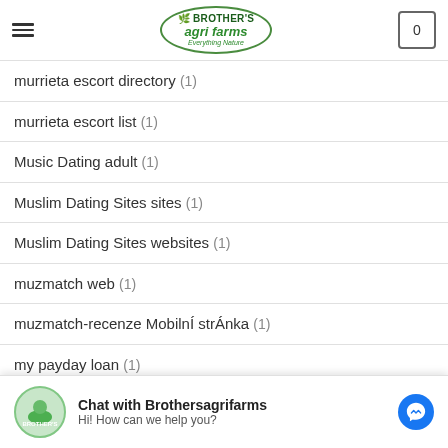Brother's Agri Farms - Everything Nature
murrieta escort directory (1)
murrieta escort list (1)
Music Dating adult (1)
Muslim Dating Sites sites (1)
Muslim Dating Sites websites (1)
muzmatch web (1)
muzmatch-recenze MobilnÍ strÁnka (1)
my payday loan (1)
Chat with Brothersagrifarms
Hi! How can we help you?